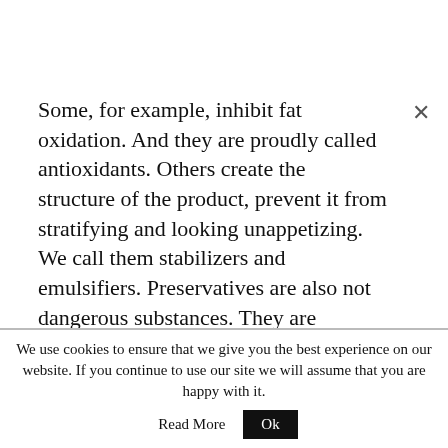Some, for example, inhibit fat oxidation. And they are proudly called antioxidants. Others create the structure of the product, prevent it from stratifying and looking unappetizing. We call them stabilizers and emulsifiers. Preservatives are also not dangerous substances. They are designed to protect our food from those who want to eat it. Namely, from microorganisms. Yes, our food is attractive to them too. Bacteria, molds, and the toxins
We use cookies to ensure that we give you the best experience on our website. If you continue to use our site we will assume that you are happy with it.
Read More   Ok